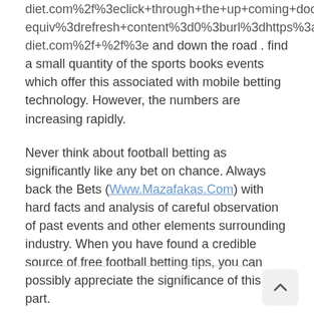diet.com%2f%3eclick+through+the+up+coming+document%equiv%3drefresh+content%3d0%3burl%3dhttps%3a%2f%2fdiet.com%2f+%2f%3e) and down the road . find a small quantity of the sports books events which offer this associated with mobile betting technology. However, the numbers are increasing rapidly.
Never think about football betting as significantly like any bet on chance. Always back the Bets (Www.Mazafakas.Com) with hard facts and analysis of careful observation of past events and other elements surrounding industry. When you have found a credible source of free football betting tips, you can possibly appreciate the significance of this part.